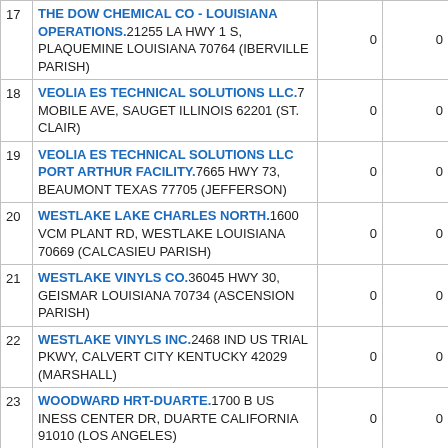| # | Facility Name & Address | Col3 | Col4 |
| --- | --- | --- | --- |
| 17 | THE DOW CHEMICAL CO - LOUISIANA OPERATIONS. 21255 LA HWY 1 S, PLAQUEMINE LOUISIANA 70764 (IBERVILLE PARISH) | 0 | 0 |
| 18 | VEOLIA ES TECHNICAL SOLUTIONS LLC. 7 MOBILE AVE, SAUGET ILLINOIS 62201 (ST. CLAIR) | 0 | 0 |
| 19 | VEOLIA ES TECHNICAL SOLUTIONS LLC PORT ARTHUR FACILITY. 7665 HWY 73, BEAUMONT TEXAS 77705 (JEFFERSON) | 0 | 0 |
| 20 | WESTLAKE LAKE CHARLES NORTH. 1600 VCM PLANT RD, WESTLAKE LOUISIANA 70669 (CALCASIEU PARISH) | 0 | 0 |
| 21 | WESTLAKE VINYLS CO. 36045 HWY 30, GEISMAR LOUISIANA 70734 (ASCENSION PARISH) | 0 | 0 |
| 22 | WESTLAKE VINYLS INC. 2468 IND US TRIAL PKWY, CALVERT CITY KENTUCKY 42029 (MARSHALL) | 0 | 0 |
| 23 | WOODWARD HRT-DUARTE. 1700 B US INESS CENTER DR, DUARTE CALIFORNIA 91010 (LOS ANGELES) | 0 | 0 |
|  | Total | 0 | 120 |